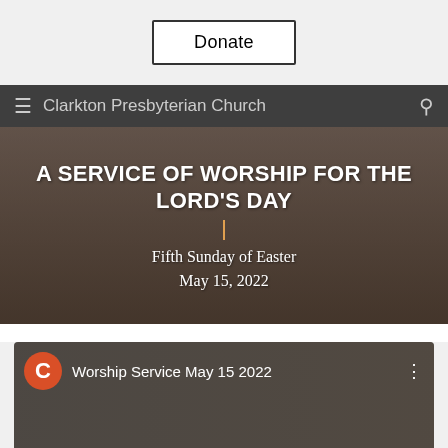[Figure (screenshot): Donate button centered on light gray background]
Clarkton Presbyterian Church
[Figure (photo): Church interior sanctuary photo with pews and altar, overlaid with text: A SERVICE OF WORSHIP FOR THE LORD'S DAY / Fifth Sunday of Easter / May 15, 2022]
A SERVICE OF WORSHIP FOR THE LORD'S DAY
Fifth Sunday of Easter
May 15, 2022
[Figure (screenshot): YouTube video thumbnail showing church interior with 'C' avatar icon and title 'Worship Service May 15 2022']